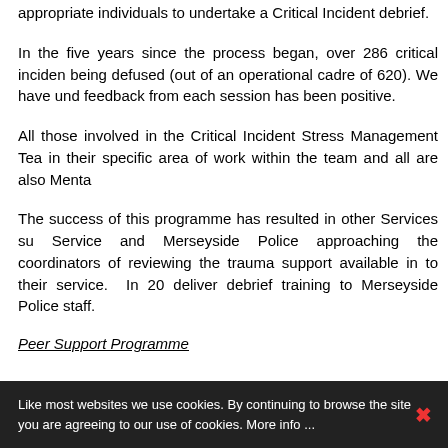appropriate individuals to undertake a Critical Incident debrief.
In the five years since the process began, over 286 critical incidents being defused (out of an operational cadre of 620). We have und feedback from each session has been positive.
All those involved in the Critical Incident Stress Management Tea in their specific area of work within the team and all are also Ment
The success of this programme has resulted in other Services su Service and Merseyside Police approaching the coordinators of reviewing the trauma support available in to their service.  In 20 deliver debrief training to Merseyside Police staff.
Peer Support Programme
The Service recognise that not everyone will wish to access sup Because of this, the Service mental health lead introduced and
Like most websites we use cookies. By continuing to browse the site you are agreeing to our use of cookies. More info ...